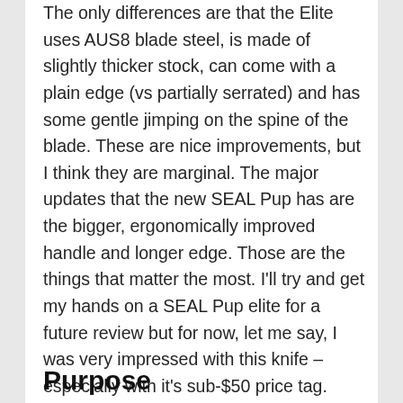The only differences are that the Elite uses AUS8 blade steel, is made of slightly thicker stock, can come with a plain edge (vs partially serrated) and has some gentle jimping on the spine of the blade. These are nice improvements, but I think they are marginal. The major updates that the new SEAL Pup has are the bigger, ergonomically improved handle and longer edge. Those are the things that matter the most. I'll try and get my hands on a SEAL Pup elite for a future review but for now, let me say, I was very impressed with this knife – especially with it's sub-$50 price tag.
Purpose